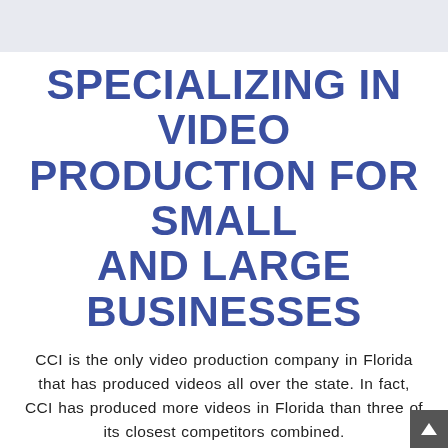SPECIALIZING IN VIDEO PRODUCTION FOR SMALL AND LARGE BUSINESSES
CCI is the only video production company in Florida that has produced videos all over the state. In fact, CCI has produced more videos in Florida than three of its closest competitors combined.
From shooting for a boat manufacturer in the Florida Keys to a capturing a presentation for a time-share resort in the panhandle of Florida, CCI has been there. Crisscrossing the state producing live coverage of a Presidential campaign...